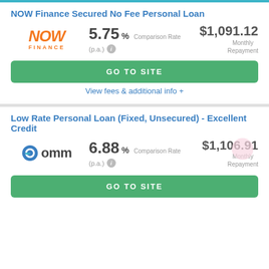NOW Finance Secured No Fee Personal Loan
5.75% Comparison Rate (p.a.) $1,091.12 Monthly Repayment
GO TO SITE
View fees & additional info +
Low Rate Personal Loan (Fixed, Unsecured) - Excellent Credit
6.88% Comparison Rate (p.a.) $1,106.91 Monthly Repayment
GO TO SITE